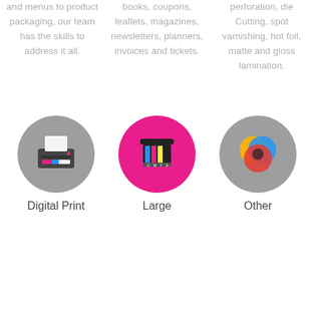and menus to product packaging, our team has the skills to address it all.
books, coupons, leaflets, magazines, newsletters, planners, invoices and tickets.
perforation, die Cutting, spot varnishing, hot foil, matte and gloss lamination.
[Figure (illustration): Gray circle with a flat-style printer icon (digital print)]
[Figure (illustration): Magenta/pink circle with a flat-style large format print/ink cartridge icon]
[Figure (illustration): Gray circle with CMYK color mixing circles icon]
Digital Print
Large
Other